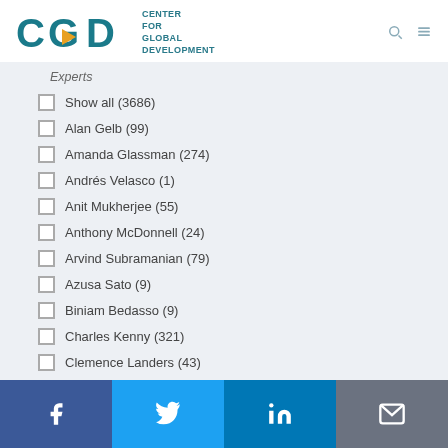[Figure (logo): Center for Global Development logo with CGD letters in teal and gold arrow, and text 'CENTER FOR GLOBAL DEVELOPMENT']
Experts
Show all (3686)
Alan Gelb (99)
Amanda Glassman (274)
Andrés Velasco (1)
Anit Mukherjee (55)
Anthony McDonnell (24)
Arvind Subramanian (79)
Azusa Sato (9)
Biniam Bedasso (9)
Charles Kenny (321)
Clemence Landers (43)
Daouda Sembene (12)
[Figure (infographic): Social media bar with Facebook, Twitter, LinkedIn, and email icons]